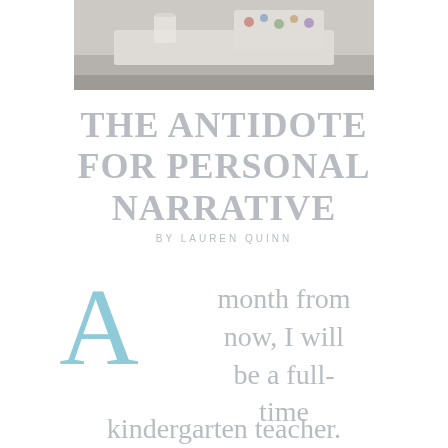[Figure (photo): Photograph of a classroom table with art supplies and colored items in a tray, muted/faded tones]
THE ANTIDOTE FOR PERSONAL NARRATIVE
BY LAUREN QUINN
A month from now, I will be a full-time kindergarten teacher.